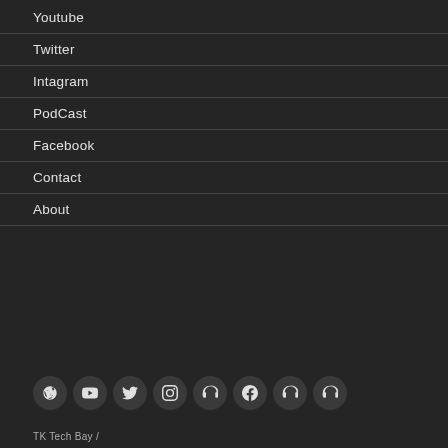Youtube
Twitter
Intagram
PodCast
Facebook
Contact
About
[Figure (infographic): Row of 8 circular social media icon buttons on dark background: WordPress, YouTube, Twitter, Instagram, podcast/headphone icons, Facebook, and two more circular icons]
TK Tech Bay /